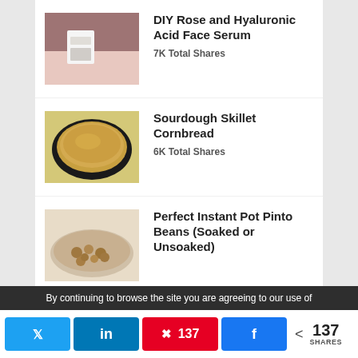DIY Rose and Hyaluronic Acid Face Serum
7K Total Shares
Sourdough Skillet Cornbread
6K Total Shares
Perfect Instant Pot Pinto Beans (Soaked or Unsoaked)
By continuing to browse the site you are agreeing to our use of
137
SHARES